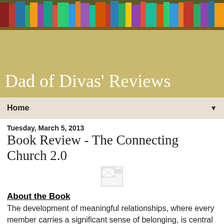[Figure (photo): Colorful bookshelf banner at top of page]
Dad of Divas' Reviews
Home ▼
Tuesday, March 5, 2013
Book Review - The Connecting Church 2.0
[Figure (photo): Broken/missing image placeholder]
About the Book
The development of meaningful relationships, where every member carries a significant sense of belonging, is central to what it means to be the church. So why do many Christians feel disappointed and disillusioned with their efforts to experience authentic community? Despite the best efforts of pastors, small group leaders, and faithful lay persons, church too often is a place